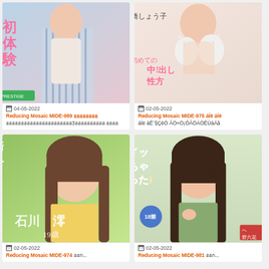[Figure (photo): Japanese adult video cover image top-left, woman in white top with blue striped shirt open, Japanese text overlay including 体験]
04-05-2022
Reducing Mosaic MIDE-989 ใจÍÍÒ¡¼Ñ้¹èÐÅÅÁ¼มÙÇÒÂÁÙ3ÊÒÇáÅéÇàÊÕÂ ออก
[Figure (photo): Japanese adult video cover image top-right, woman in white bikini, Japanese text overlay including 中出し]
02-05-2022
Reducing Mosaic MIDE-975 áÍë áÍë¹èÐ áÊ´§ÇèÒ ÂÒ«Ò¡ÔÂÒÁÒÊÙàÁâ
[Figure (photo): Japanese adult video cover image bottom-left, young woman with brown hair, Japanese text 石川澪 19歳 on green background]
02-05-2022
Reducing Mosaic MIDE-974 ออก...
[Figure (photo): Japanese adult video cover image bottom-right, young woman with dark hair holding shoulder straps, Japanese text イッちゃった with colorful text]
02-05-2022
Reducing Mosaic MIDE-981 ออก...